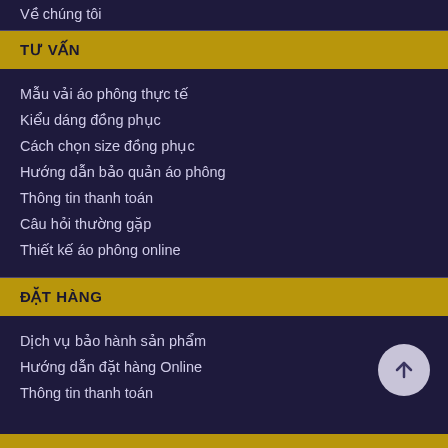Về chúng tôi
TƯ VẤN
Mẫu vải áo phông thực tế
Kiểu dáng đồng phục
Cách chọn size đồng phục
Hướng dẫn bảo quản áo phông
Thông tin thanh toán
Câu hỏi thường gặp
Thiết kế áo phông online
ĐẶT HÀNG
Dịch vụ bảo hành sản phẩm
Hướng dẫn đặt hàng Online
Thông tin thanh toán